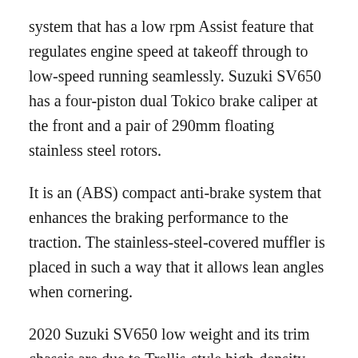system that has a low rpm Assist feature that regulates engine speed at takeoff through to low-speed running seamlessly. Suzuki SV650 has a four-piston dual Tokico brake caliper at the front and a pair of 290mm floating stainless steel rotors.
It is an (ABS) compact anti-brake system that enhances the braking performance to the traction. The stainless-steel-covered muffler is placed in such a way that it allows lean angles when cornering.
2020 Suzuki SV650 low weight and its trim chassis are due to Trellis-style high-density steel tubes frame. A special resin coating is in every piston skirt while other parts that slide have been tinned to reduce friction.